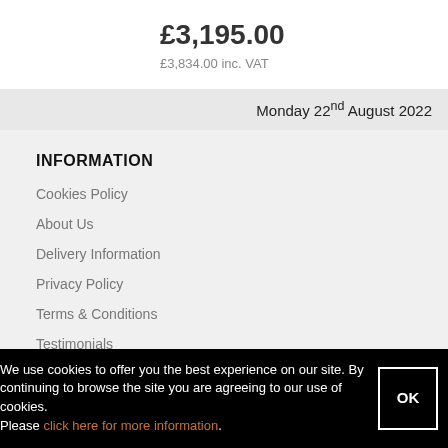£3,195.00
£3,834.00 inc. VAT
Monday 22nd August 2022
INFORMATION
Cookies Policy
About Us
Delivery Information
Privacy Policy
Terms & Conditions
Testimonials
We use cookies to offer you the best experience on our site. By continuing to browse the site you are agreeing to our use of cookies.
Please click here for more information.